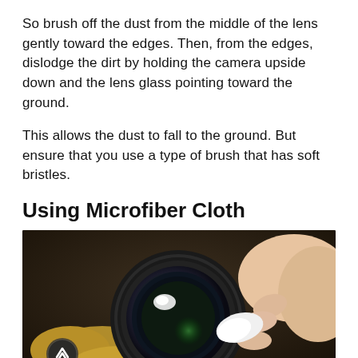So brush off the dust from the middle of the lens gently toward the edges. Then, from the edges, dislodge the dirt by holding the camera upside down and the lens glass pointing toward the ground.
This allows the dust to fall to the ground. But ensure that you use a type of brush that has soft bristles.
Using Microfiber Cloth
[Figure (photo): Close-up photo of hands cleaning a camera lens with a white microfiber cloth. The lens is black with visible glass elements. One hand holds the lens from below (wearing a yellow/mustard glove) and another hand from the right wipes the lens surface with a white cloth. A circular back-arrow navigation button is visible in the lower left.]